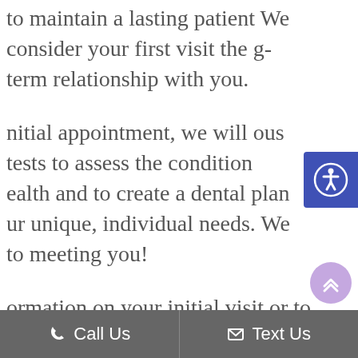to maintain a lasting patient We consider your first visit the g-term relationship with you.
nitial appointment, we will ous tests to assess the condition ealth and to create a dental plan ur unique, individual needs. We to meeting you!
ormation on your initial visit or to appointment, please don't contact us today at (313) 581-7979
[Figure (other): Blue accessibility icon button with person/wheelchair symbol in a blue square on the right side of the page]
[Figure (other): Purple circular scroll-to-top button with double up chevron arrows]
Call Us   Text Us